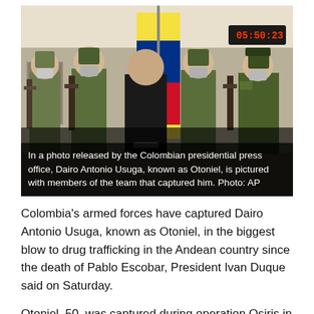[Figure (photo): Photo released by the Colombian presidential press office showing Dairo Antonio Usuga (Otoniel) handcuffed in a black t-shirt, standing in the center with Colombian flag behind him, flanked by four masked soldiers/military personnel in camouflage holding rifles, inside what appears to be a military tent. A digital clock showing 05:50:23 is visible in the upper right.]
In a photo released by the Colombian presidential press office, Dairo Antonio Usuga, known as Otoniel, is pictured with members of the team that captured him. Photo: AP
Colombia's armed forces have captured Dairo Antonio Usuga, known as Otoniel, in the biggest blow to drug trafficking in the Andean country since the death of Pablo Escobar, President Ivan Duque said on Saturday.
Otoniel, 50, was captured during operation Osiris in a rural area of Colombia's Uraba region, located in